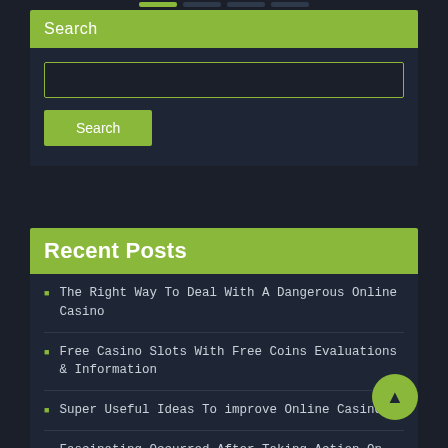Search
Recent Posts
The Right Way To Deal With A Dangerous Online Casino
Free Casino Slots With Free Coins Evaluations & Information
Super Useful Ideas To improve Online Casino
Fascinating Occurred After Taking Action On These 5